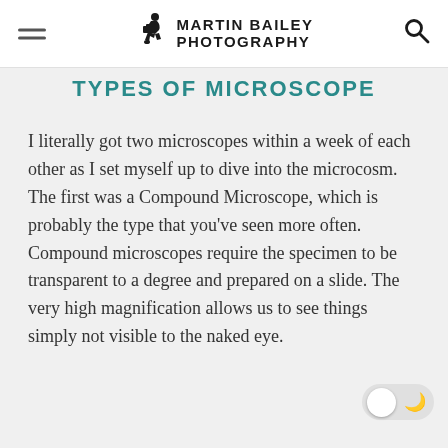Martin Bailey Photography
TYPES OF MICROSCOPE
I literally got two microscopes within a week of each other as I set myself up to dive into the microcosm. The first was a Compound Microscope, which is probably the type that you've seen more often. Compound microscopes require the specimen to be transparent to a degree and prepared on a slide. The very high magnification allows us to see things simply not visible to the naked eye.